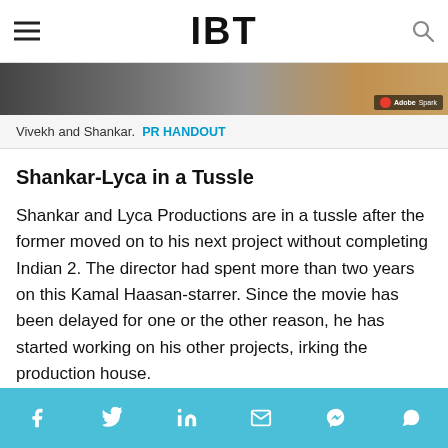IBT
[Figure (photo): Photo of Vivekh and Shankar with Adobe Spark watermark]
Vivekh and Shankar.  PR HANDOUT
Shankar-Lyca in a Tussle
Shankar and Lyca Productions are in a tussle after the former moved on to his next project without completing Indian 2. The director had spent more than two years on this Kamal Haasan-starrer. Since the movie has been delayed for one or the other reason, he has started working on his other projects, irking the production house.
Social share bar: Facebook, Twitter, LinkedIn, Email, Messenger, WhatsApp